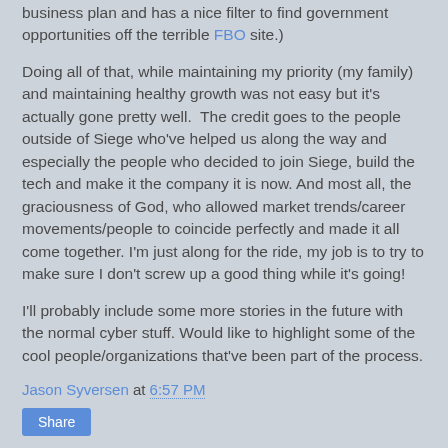business plan and has a nice filter to find government opportunities off the terrible FBO site.)
Doing all of that, while maintaining my priority (my family) and maintaining healthy growth was not easy but it's actually gone pretty well.  The credit goes to the people outside of Siege who've helped us along the way and especially the people who decided to join Siege, build the tech and make it the company it is now. And most all, the graciousness of God, who allowed market trends/career movements/people to coincide perfectly and made it all come together. I'm just along for the ride, my job is to try to make sure I don't screw up a good thing while it's going!
I'll probably include some more stories in the future with the normal cyber stuff. Would like to highlight some of the cool people/organizations that've been part of the process.
Jason Syversen at 6:57 PM
Share